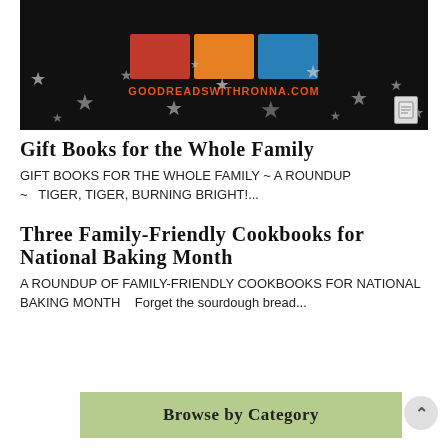[Figure (screenshot): Banner image showing book covers against a dark/black background with stars and the text GOODREADSWITHRONNA.COM in orange-red, with a document icon in the lower right corner.]
Gift Books for the Whole Family
GIFT BOOKS FOR THE WHOLE FAMILY ~ A ROUNDUP ~ TIGER, TIGER, BURNING BRIGHT!...
Three Family-Friendly Cookbooks for National Baking Month
A ROUNDUP OF FAMILY-FRIENDLY COOKBOOKS FOR NATIONAL BAKING MONTH    Forget the sourdough bread...
Browse by Category